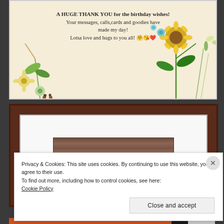[Figure (illustration): Greeting card with floral decorations (flowers, leaves, sunflower) on a cream background with a thank you birthday message]
A HUGE THANK YOU for the birthday wishes! Your messages, calls,cards and goodies have made my day! Lotsa love and hugs to you all! 🤗😘❤️
[Figure (photo): A framed image with dark brown wooden frame, white mat, and a blurred wood-textured rectangle in the center]
Privacy & Cookies: This site uses cookies. By continuing to use this website, you agree to their use.
To find out more, including how to control cookies, see here:
Cookie Policy